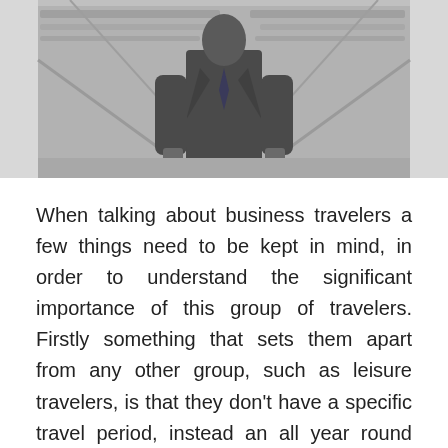[Figure (photo): A blurred/muted photograph of a business traveler (person in dark suit/tie) at what appears to be a transit station or airport, with structural beams or escalators visible in the background. Image is desaturated/grayscale.]
When talking about business travelers a few things need to be kept in mind, in order to understand the significant importance of this group of travelers. Firstly something that sets them apart from any other group, such as leisure travelers, is that they don't have a specific travel period, instead an all year round one. Secondly and put simply, they bring in the buck. In 2016 global business travel spending accounted for a staggering sum of around 1.3 trillion $. Thirdly, this market within a market is one whose needs largely are easier to narrow down, since the purpose of one's trip is